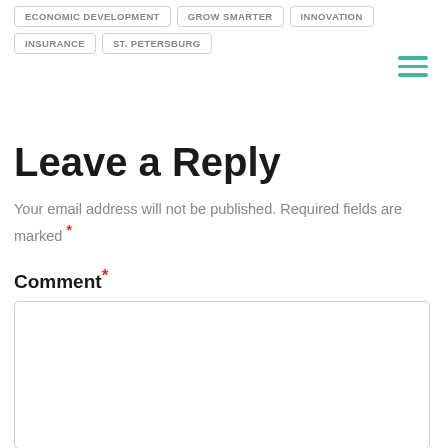ECONOMIC DEVELOPMENT
GROW SMARTER
INNOVATION
INSURANCE
ST. PETERSBURG
[Figure (other): Hamburger menu icon with three horizontal green lines]
Leave a Reply
Your email address will not be published. Required fields are marked *
Comment*
[Figure (other): Empty comment text area input box]